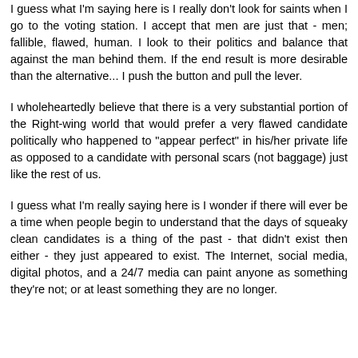"too clean."
I guess what I'm saying here is I really don't look for saints when I go to the voting station. I accept that men are just that - men; fallible, flawed, human. I look to their politics and balance that against the man behind them. If the end result is more desirable than the alternative... I push the button and pull the lever.
I wholeheartedly believe that there is a very substantial portion of the Right-wing world that would prefer a very flawed candidate politically who happened to "appear perfect" in his/her private life as opposed to a candidate with personal scars (not baggage) just like the rest of us.
I guess what I'm really saying here is I wonder if there will ever be a time when people begin to understand that the days of squeaky clean candidates is a thing of the past - that didn't exist then either - they just appeared to exist. The Internet, social media, digital photos, and a 24/7 media can paint anyone as something they're not; or at least something they are no longer.